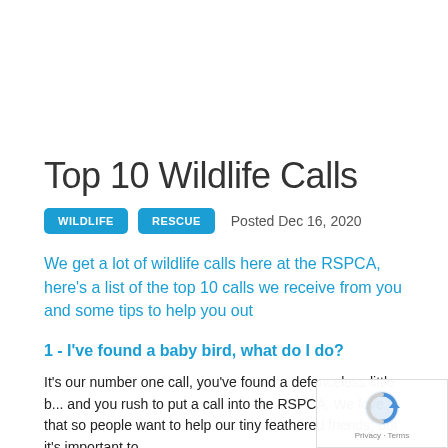Top 10 Wildlife Calls
WILDLIFE   RESCUE   Posted Dec 16, 2020
We get a lot of wildlife calls here at the RSPCA, here's a list of the top 10 calls we receive from you and some tips to help you out
1 - I've found a baby bird, what do I do?
It's our number one call, you've found a defenceless little b... and you rush to put a call into the RSPCA. We love that so... people want to help our tiny feathered friends, but it's important to